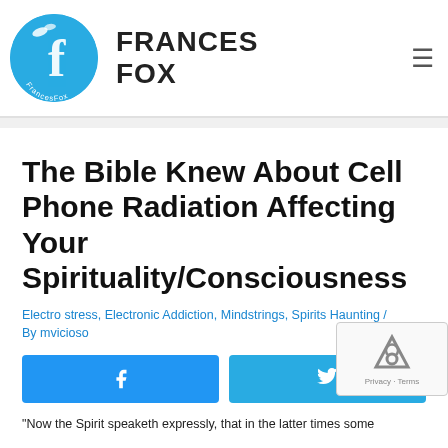[Figure (logo): Frances Fox website logo: blue circle with stylized 'f' and bird, text 'FrancesFox' around bottom arc]
FRANCES FOX
The Bible Knew About Cell Phone Radiation Affecting Your Spirituality/Consciousness
Electro stress, Electronic Addiction, Mindstrings, Spirits Haunting / By mvicioso
[Figure (other): Facebook share button (blue) and Twitter share button (light blue) social sharing buttons]
“Now the Spirit speaketh expressly, that in the latter times some